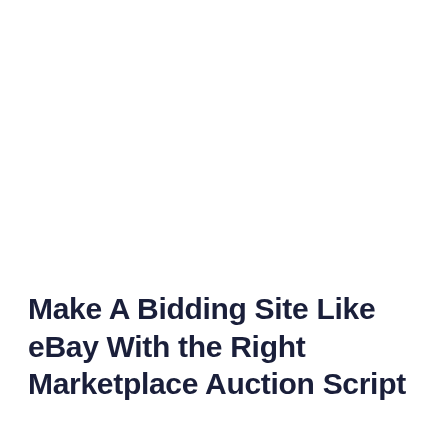Make A Bidding Site Like eBay With the Right Marketplace Auction Script